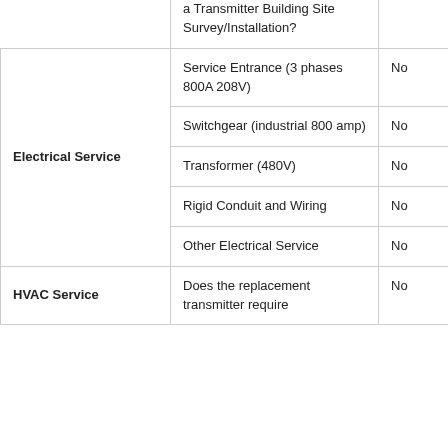|  | Question | Answer |
| --- | --- | --- |
|  | a Transmitter Building Site Survey/Installation? |  |
| Electrical Service | Service Entrance (3 phases 800A 208V) | No |
|  | Switchgear (industrial 800 amp) | No |
|  | Transformer (480V) | No |
|  | Rigid Conduit and Wiring | No |
|  | Other Electrical Service | No |
| HVAC Service | Does the replacement transmitter require | No |